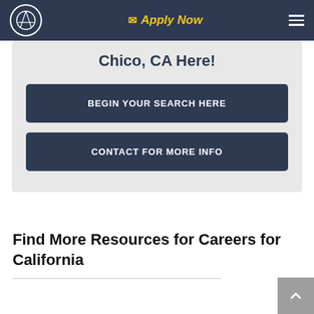Apply Now
Chico, CA Here!
BEGIN YOUR SEARCH HERE
CONTACT FOR MORE INFO
Find More Resources for Careers for California